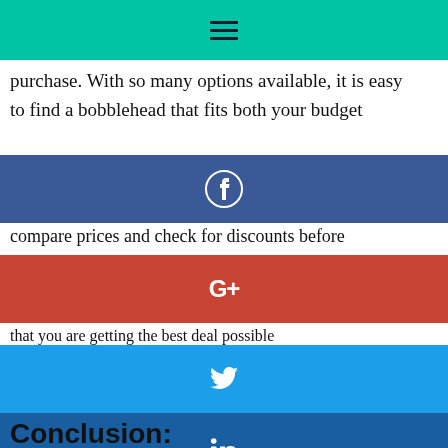[Figure (screenshot): Teal/green navigation header bar with hamburger menu icon]
purchase. With so many options available, it is easy to find a bobblehead that fits both your budget
[Figure (screenshot): Facebook share button bar (dark blue) with Facebook circle icon]
compare prices and check for discounts before
[Figure (screenshot): Google+ share button bar (red) with G+ icon]
that you are getting the best deal possible
[Figure (screenshot): Twitter share button bar (blue) with Twitter bird icon]
[Figure (screenshot): LinkedIn share button bar (dark blue) with LinkedIn icon]
Conclusion:
The best places to buy bobbleheads in 2022 may be a little different than where you would have found them in 2020. As technology changes, so do the